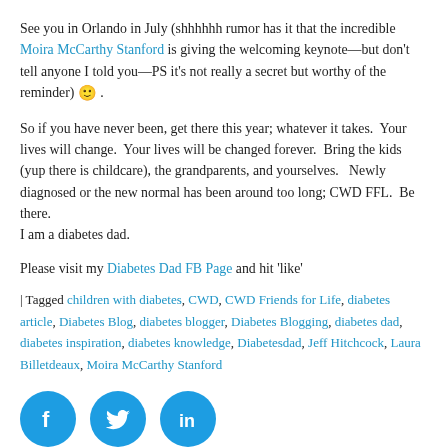See you in Orlando in July (shhhhhh rumor has it that the incredible Moira McCarthy Stanford is giving the welcoming keynote—but don't tell anyone I told you—PS it's not really a secret but worthy of the reminder) 🙂 .
So if you have never been, get there this year; whatever it takes.  Your lives will change.  Your lives will be changed forever.  Bring the kids (yup there is childcare), the grandparents, and yourselves.   Newly diagnosed or the new normal has been around too long; CWD FFL.  Be there.
I am a diabetes dad.
Please visit my Diabetes Dad FB Page and hit 'like'
| Tagged children with diabetes, CWD, CWD Friends for Life, diabetes article, Diabetes Blog, diabetes blogger, Diabetes Blogging, diabetes dad, diabetes inspiration, diabetes knowledge, Diabetesdad, Jeff Hitchcock, Laura Billetdeaux, Moira McCarthy Stanford
[Figure (infographic): Three circular social media share buttons: Facebook (f logo), Twitter (bird logo), LinkedIn (in logo), all in blue]
Search